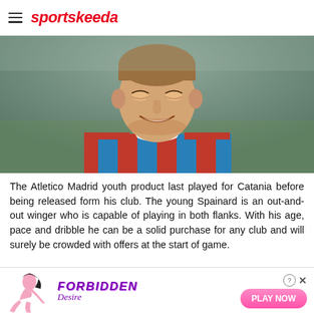sportskeeda
[Figure (photo): Young male footballer smiling, wearing a red and blue vertically striped jersey (Catania FC kit), photographed from shoulders up against a blurred background.]
The Atletico Madrid youth product last played for Catania before being released form his club. The young Spainard is an out-and-out winger who is capable of playing in both flanks. With his age, pace and dribble he can be a solid purchase for any club and will surely be crowded with offers at the start of game.
[Figure (advertisement): Ad banner for 'Forbidden Desire' game with a cartoon female figure, purple stylized text reading 'FORBIDDEN Desire', and a pink 'PLAY NOW' button. Includes a close (X) button and help (?) icon.]